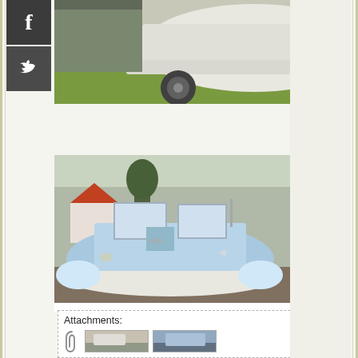[Figure (photo): Top portion of a white boat on a trailer with grass visible, partial view]
[Figure (photo): Light blue and white speedboat parked outdoors with windshields visible, houses in background]
Attachments:
[Figure (photo): Small thumbnail attachments showing boat images]